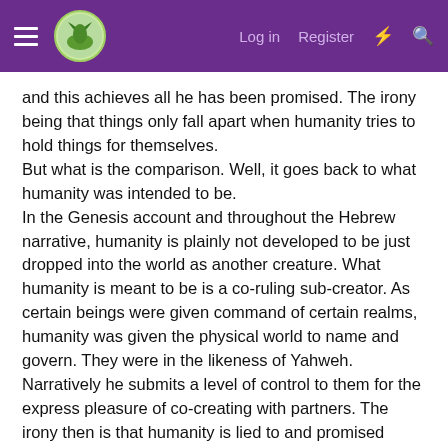≡ [logo] Log in  Register  ⚡ 🔍
and this achieves all he has been promised. The irony being that things only fall apart when humanity tries to hold things for themselves.
But what is the comparison. Well, it goes back to what humanity was intended to be.
In the Genesis account and throughout the Hebrew narrative, humanity is plainly not developed to be just dropped into the world as another creature. What humanity is meant to be is a co-ruling sub-creator. As certain beings were given command of certain realms, humanity was given the physical world to name and govern. They were in the likeness of Yahweh. Narratively he submits a level of control to them for the express pleasure of co-creating with partners. The irony then is that humanity is lied to and promised falsely that, if it chooses to define good and bad, rejecting the embodied fruit of eternal life, then they will be akin to Yahweh, the very thing they have already been made in the image of. And in striving for it themselves, they lose that which